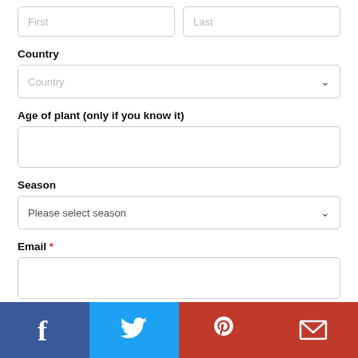[Figure (screenshot): Web form with First/Last name input fields (partially cropped at top)]
Country
[Figure (screenshot): Country dropdown selector with placeholder text 'Country' and chevron arrow]
Age of plant (only if you know it)
[Figure (screenshot): Empty text input field for age of plant]
Season
[Figure (screenshot): Season dropdown selector with placeholder text 'Please select season' and chevron arrow]
Email *
[Figure (screenshot): Empty text input field for email]
[Figure (infographic): Social sharing bar with Facebook, Twitter, Pinterest, and Gmail/Google Mail icons]